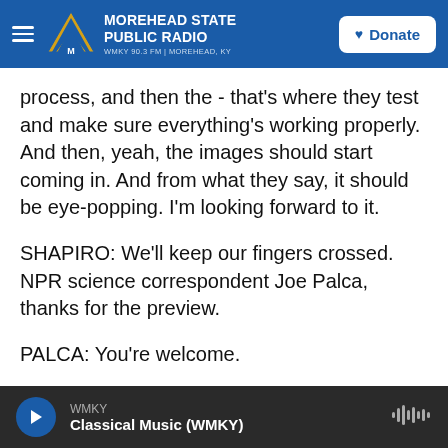MOREHEAD STATE PUBLIC RADIO — WMKY 90.3 FM | MOREHEAD, KY — Donate
process, and then the - that's where they test and make sure everything's working properly. And then, yeah, the images should start coming in. And from what they say, it should be eye-popping. I'm looking forward to it.
SHAPIRO: We'll keep our fingers crossed. NPR science correspondent Joe Palca, thanks for the preview.
PALCA: You're welcome.
(SOUNDBITE OF MUSIC) Transcript provided by NPR. Copyright NPR.
WMKY — Classical Music (WMKY)